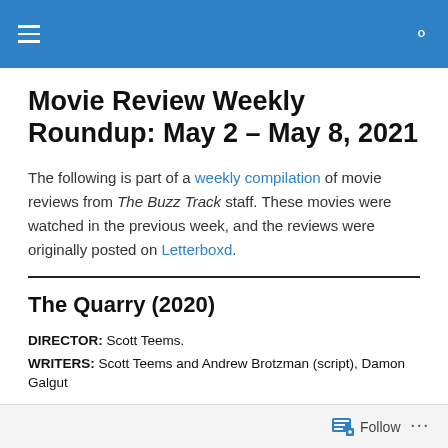Movie Review Weekly Roundup: May 2 – May 8, 2021
The following is part of a weekly compilation of movie reviews from The Buzz Track staff. These movies were watched in the previous week, and the reviews were originally posted on Letterboxd.
The Quarry (2020)
DIRECTOR: Scott Teems.
WRITERS: Scott Teems and Andrew Brotzman (script), Damon Galgut